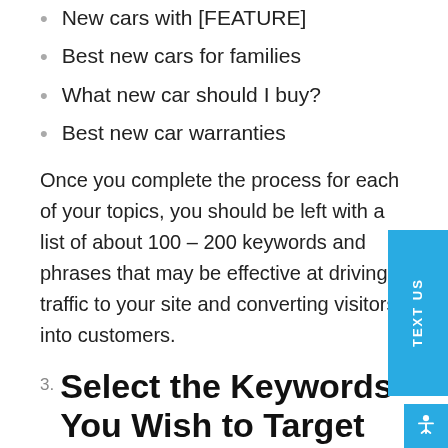New cars with [FEATURE]
Best new cars for families
What new car should I buy?
Best new car warranties
Once you complete the process for each of your topics, you should be left with a list of about 100 – 200 keywords and phrases that may be effective at driving traffic to your site and converting visitors into customers.
3. Select the Keywords You Wish to Target
It can be very tempting to think you have concluded the research process once you have a list of 100+ keywords in hand. However, there's